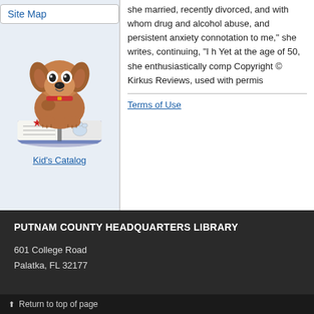Site Map
[Figure (illustration): Cartoon illustration of a brown puppy dog sitting on top of an open book with a paw bone and star design on the cover]
Kid's Catalog
she married, recently divorced, and with whom drug and alcohol abuse, and persistent anxiety connotation to me," she writes, continuing, "I h Yet at the age of 50, she enthusiastically comp Copyright © Kirkus Reviews, used with permis
Terms of Use
PUTNAM COUNTY HEADQUARTERS LIBRARY
601 College Road
Palatka, FL 32177
Return to top of page